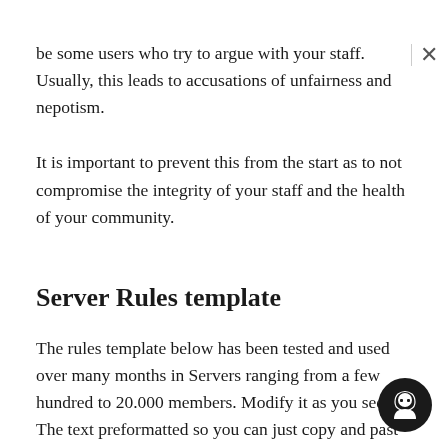be some users who try to argue with your staff. Usually, this leads to accusations of unfairness and nepotism.
It is important to prevent this from the start as to not compromise the integrity of your staff and the health of your community.
Server Rules template
The rules template below has been tested and used over many months in Servers ranging from a few hundred to 20.000 members. Modify it as you see The text preformatted so you can just copy and paste